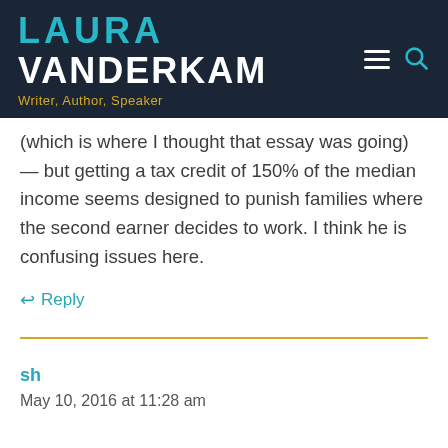LAURA VANDERKAM — Writer, Author, Speaker
(which is where I thought that essay was going) — but getting a tax credit of 150% of the median income seems designed to punish families where the second earner decides to work. I think he is confusing issues here.
↩ Reply
sh
May 10, 2016 at 11:28 am